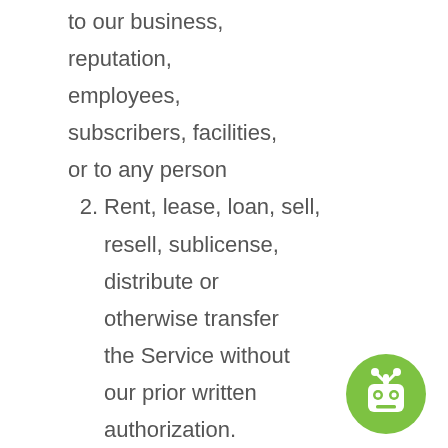to our business, reputation, employees, subscribers, facilities, or to any person
2. Rent, lease, loan, sell, resell, sublicense, distribute or otherwise transfer the Service without our prior written authorization.
3. Remove, circumvent, disable, damage or otherwise interfere
[Figure (logo): Green circular logo with a white robot/bot face icon]